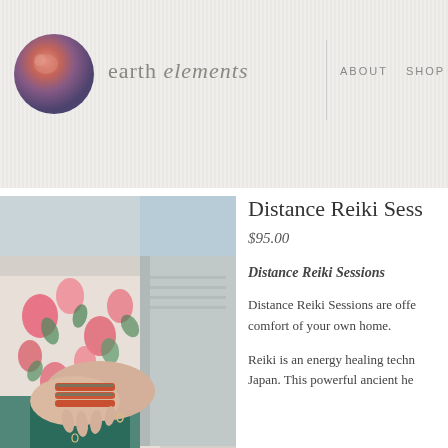earth elements — ABOUT  SHOP  HE
[Figure (photo): Two people clasped hands, one wearing a colorful floral dress and orange beaded bracelets, the other in a grey cardigan]
Distance Reiki Sess
$95.00
Distance Reiki Sessions
Distance Reiki Sessions are offe comfort of your own home.
Reiki is an energy healing techn Japan. This powerful ancient he